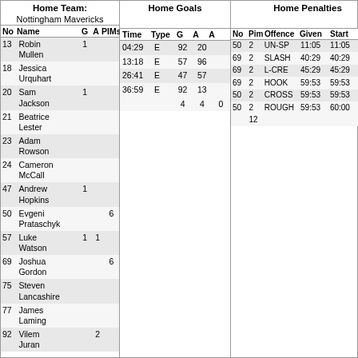| No | Name | G | A | PIMs |
| --- | --- | --- | --- | --- |
| 13 | Robin Mullen | 1 |  |  |
| 18 | Jessica Urquhart |  |  |  |
| 20 | Sam Jackson | 1 |  |  |
| 21 | Beatrice Lester |  |  |  |
| 23 | Adam Rowson |  |  |  |
| 24 | Cameron McCall |  |  |  |
| 47 | Andrew Hopkins | 1 |  |  |
| 50 | Evgeni Prataschyk |  |  | 6 |
| 57 | Luke Watson | 1 | 1 |  |
| 69 | Joshua Gordon |  |  | 6 |
| 75 | Steven Lancashire |  |  |  |
| 77 | James Laming |  |  |  |
| 92 | Vilem Juran |  | 2 |  |
| Time | Type | G | A | A |
| --- | --- | --- | --- | --- |
| 04:29 | E | 92 | 20 |  |
| 13:18 | E | 57 | 96 |  |
| 26:41 | E | 47 | 57 |  |
| 36:59 | E | 92 | 13 |  |
|  |  | 4 | 4 | 0 |
| No | Pim | Offence | Given | Start | End |
| --- | --- | --- | --- | --- | --- |
| 50 | 2 | UN-SP | 11:05 | 11:05 | 13:05 |
| 69 | 2 | SLASH | 40:29 | 40:29 | 42:29 |
| 69 | 2 | L-CRE | 45:29 | 45:29 | 47:29 |
| 69 | 2 | HOOK | 59:53 | 59:53 | 60:00 |
| 50 | 2 | CROSS | 59:53 | 59:53 | 60:00 |
| 50 | 2 | ROUGH | 59:53 | 60:00 | 60:00 |
|  | 12 |  |  |  |  |